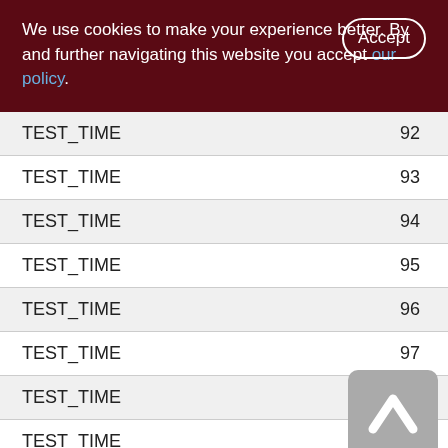We use cookies to make your experience better. By accepting and further navigating this website you accept our policy.
| TEST_TIME | 92 |
| TEST_TIME | 93 |
| TEST_TIME | 94 |
| TEST_TIME | 95 |
| TEST_TIME | 96 |
| TEST_TIME | 97 |
| TEST_TIME | 98 |
| TEST_TIME | 99 |
| TEST_TIME | 100 |